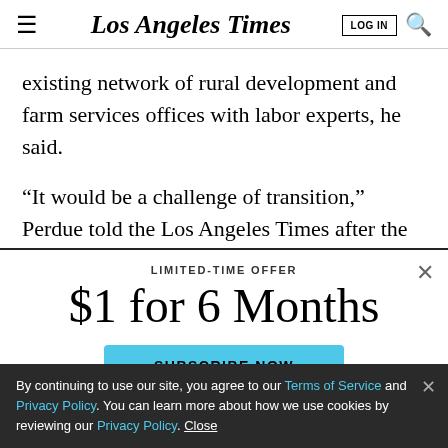Los Angeles Times
existing network of rural development and farm services offices with labor experts, he said.
“It would be a challenge of transition,” Perdue told the Los Angeles Times after the meeting. “It wouldn’t be
LIMITED-TIME OFFER
$1 for 6 Months
SUBSCRIBE NOW
By continuing to use our site, you agree to our Terms of Service and Privacy Policy. You can learn more about how we use cookies by reviewing our Privacy Policy. Close